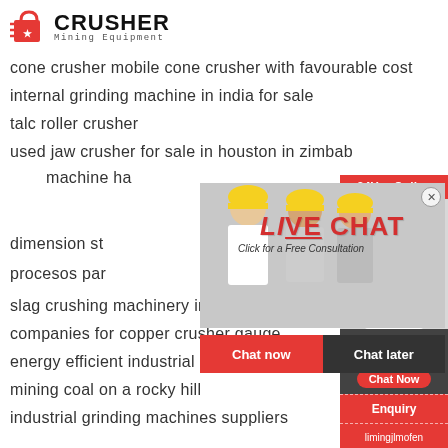[Figure (logo): Crusher Mining Equipment logo with red shopping bag icon and bold black text]
cone crusher mobile cone crusher with favourable cost
internal grinding machine in india for sale
talc roller crusher
used jaw crusher for sale in houston in zimbab...
machine ha...
dimension st...
procesos par...
slag crushing machinery in malaysia
companies for copper crusher gauge
energy efficient industrial dryers
mining coal on a rocky hill
industrial grinding machines suppliers
[Figure (screenshot): Live chat popup overlay with workers in hard hats background, LIVE CHAT text in red, 'Click for a Free Consultation' subtitle, close button, Chat now (red) and Chat later (dark) buttons]
[Figure (infographic): Right sidebar with 24Hrs Online banner, customer service agent photo, Need questions & suggestion? panel with Chat Now pill button, Enquiry button, and limingjlmofen@sina.com contact]